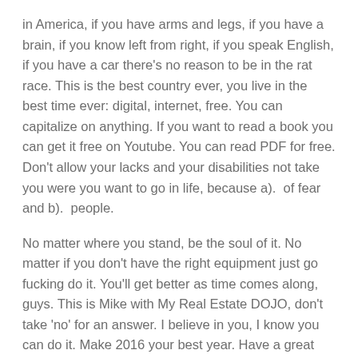in America, if you have arms and legs, if you have a brain, if you know left from right, if you speak English, if you have a car there's no reason to be in the rat race. This is the best country ever, you live in the best time ever: digital, internet, free. You can capitalize on anything. If you want to read a book you can get it free on Youtube. You can read PDF for free. Don't allow your lacks and your disabilities not take you were you want to go in life, because a). of fear and b). people.
No matter where you stand, be the soul of it. No matter if you don't have the right equipment just go fucking do it. You'll get better as time comes along, guys. This is Mike with My Real Estate DOJO, don't take 'no' for an answer. I believe in you, I know you can do it. Make 2016 your best year. Have a great day, gang!